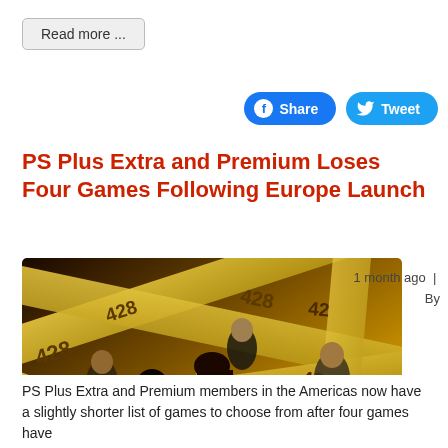Read more ...
[Figure (screenshot): Facebook Share button (blue rounded rectangle) and Twitter Tweet button (light blue rounded rectangle)]
PS Plus Extra and Premium Loses Four Games Following Europe Launch
[Figure (photo): Promotional image for game '428: Shibuya Scramble' showing group of characters with yellow crime scene tape marked '428' in background]
1 month ago  |  By
PlayStation LifeStyle
PS Plus Extra and Premium members in the Americas now have a slightly shorter list of games to choose from after four games have